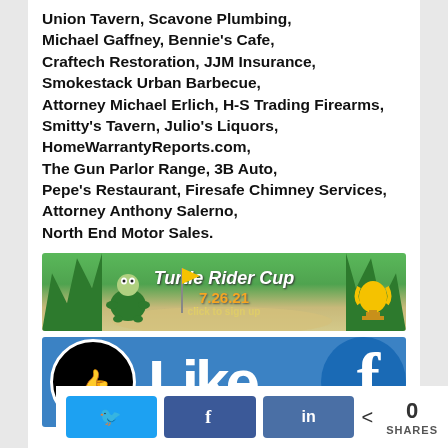Union Tavern, Scavone Plumbing, Michael Gaffney, Bennie's Cafe, Craftech Restoration, JJM Insurance, Smokestack Urban Barbecue, Attorney Michael Erlich, H-S Trading Firearms, Smitty's Tavern, Julio's Liquors, HomeWarrantyReports.com, The Gun Parlor Range, 3B Auto, Pepe's Restaurant, Firesafe Chimney Services, Attorney Anthony Salerno, North End Motor Sales.
[Figure (illustration): Turtle Rider Cup golf tournament banner showing golf course illustration with trees, sand trap, flag, and trophy. Text reads 'Turtle Rider Cup 7.26.21 click to sign up']
[Figure (illustration): Facebook Like button banner showing a circular logo with mascot, 'Like' text in large white letters, and partial Facebook 'f' logo on blue background]
0 SHARES